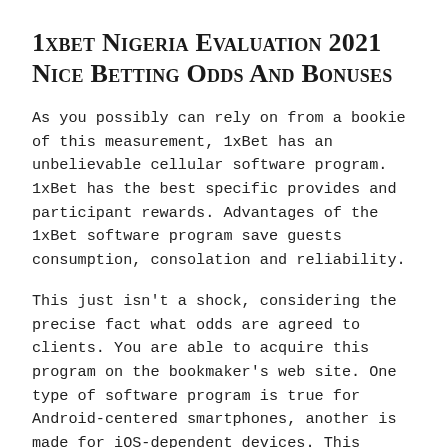1xbet Nigeria Evaluation 2021 Nice Betting Odds And Bonuses
As you possibly can rely on from a bookie of this measurement, 1xBet has an unbelievable cellular software program. 1xBet has the best specific provides and participant rewards. Advantages of the 1xBet software program save guests consumption, consolation and reliability.
This just isn't a shock, considering the precise fact what odds are agreed to clients. You are able to acquire this program on the bookmaker's web site. One type of software program is true for Android-centered smartphones, another is made for iOS-dependent devices. This bookie in Ghana always has lots of promos, additional bonuses, and the latest software program program releases for